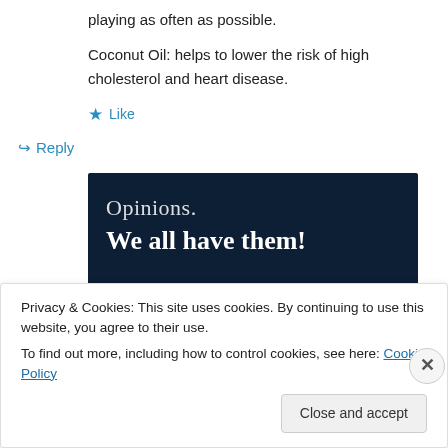playing as often as possible.
Coconut Oil: helps to lower the risk of high cholesterol and heart disease.
★ Like
↪ Reply
[Figure (screenshot): Dark navy advertisement banner with text 'Opinions. We all have them!' in white serif font, with a pink/red bar and a light circle at the bottom.]
Privacy & Cookies: This site uses cookies. By continuing to use this website, you agree to their use.
To find out more, including how to control cookies, see here: Cookie Policy
Close and accept